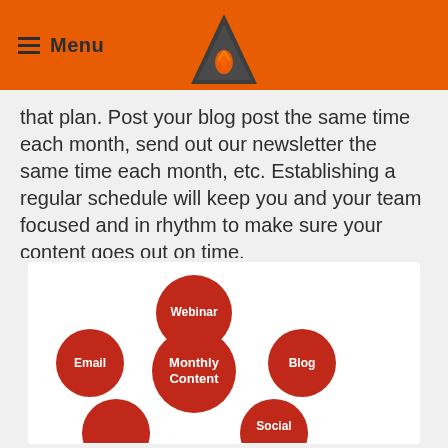Menu
that plan. Post your blog post the same time each month, send out our newsletter the same time each month, etc. Establishing a regular schedule will keep you and your team focused and in rhythm to make sure your content goes out on time.
[Figure (infographic): Circular diagram showing Monthly Content at center, surrounded by Webinar (top), Blog (right), Social (bottom-right), Email (left), and two more circles at bottom-left, with pink arrows connecting them.]